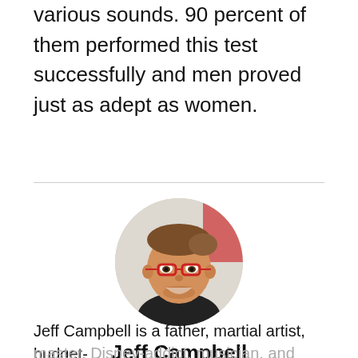various sounds. 90 percent of them performed this test successfully and men proved just as adept as women.
[Figure (photo): Circular portrait photo of Jeff Campbell, a smiling man with short brown hair, red-framed glasses, and a dark shirt, against a light background.]
Jeff Campbell
Jeff Campbell is a father, martial artist, budget-master, Disney-addict, musician, and recovering